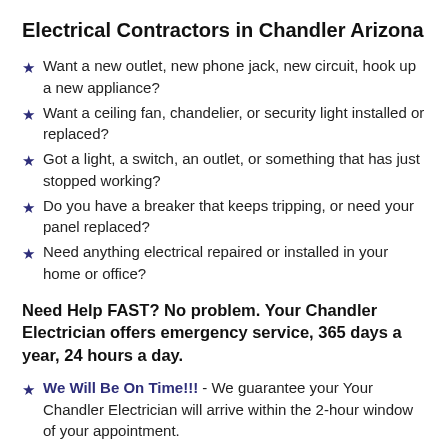Electrical Contractors in Chandler Arizona
Want a new outlet, new phone jack, new circuit, hook up a new appliance?
Want a ceiling fan, chandelier, or security light installed or replaced?
Got a light, a switch, an outlet, or something that has just stopped working?
Do you have a breaker that keeps tripping, or need your panel replaced?
Need anything electrical repaired or installed in your home or office?
Need Help FAST? No problem. Your Chandler Electrician offers emergency service, 365 days a year, 24 hours a day.
We Will Be On Time!!! - We guarantee your Your Chandler Electrician will arrive within the 2-hour window of your appointment.
100% Customer Satisfaction – How many electrical contractors